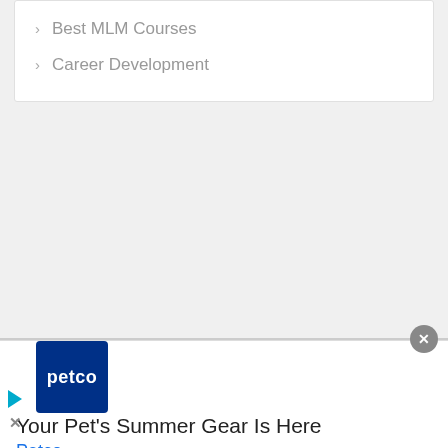Best MLM Courses
Career Development
[Figure (other): Advertisement banner for Petco featuring logo, headline 'Your Pet's Summer Gear Is Here', brand name 'Petco', navigation arrow icon, close button, and ad control icons.]